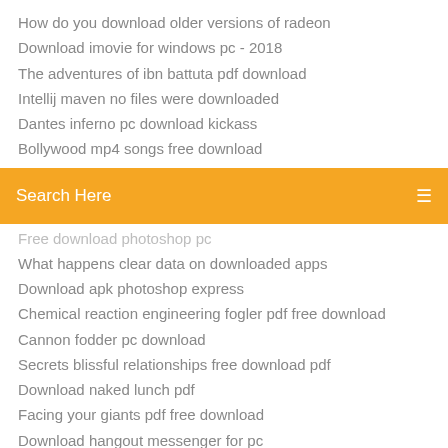How do you download older versions of radeon
Download imovie for windows pc - 2018
The adventures of ibn battuta pdf download
Intellij maven no files were downloaded
Dantes inferno pc download kickass
Bollywood mp4 songs free download
[Figure (screenshot): Orange search bar with text 'Search Here' and a menu icon on the right]
Free download photoshop pc
What happens clear data on downloaded apps
Download apk photoshop express
Chemical reaction engineering fogler pdf free download
Cannon fodder pc download
Secrets blissful relationships free download pdf
Download naked lunch pdf
Facing your giants pdf free download
Download hangout messenger for pc
Download 9apps for pc
Download pengedit video pc